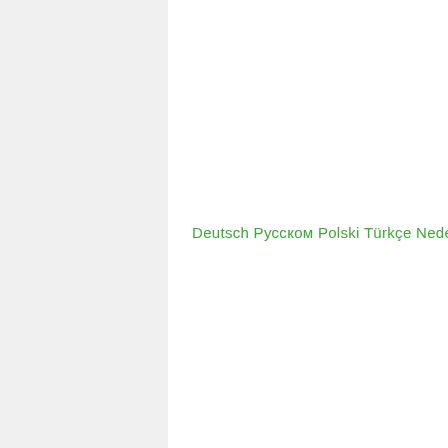Deutsch Русском Polski Türkçe Nederla